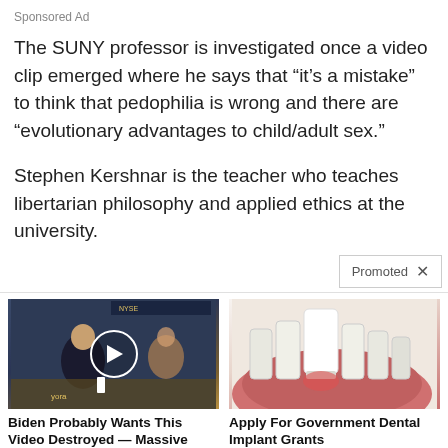Sponsored Ad
The SUNY professor is investigated once a video clip emerged where he says that "it's a mistake" to think that pedophilia is wrong and there are "evolutionary advantages to child/adult sex."
Stephen Kershnar is the teacher who teaches libertarian philosophy and applied ethics at the university.
Promoted ×
[Figure (photo): Video thumbnail showing man in TV studio with play button overlay]
Biden Probably Wants This Video Destroyed — Massive Currency Upheaval Has Started
🔥 85,651
[Figure (photo): Medical illustration of tooth/dental implant]
Apply For Government Dental Implant Grants
🔥 53,949